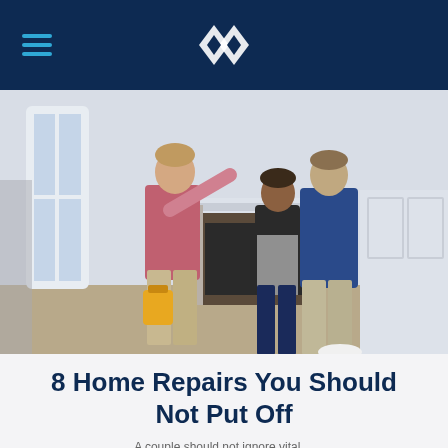[Figure (photo): Three people standing in an empty bright living room with white walls and a fireplace. A man in a pink shirt points toward the upper left while holding a yellow tool bag, and a couple (woman in black and gray top, man in blue jacket) stand nearby looking in the same direction.]
8 Home Repairs You Should Not Put Off
A sentence beginning visible at the bottom...